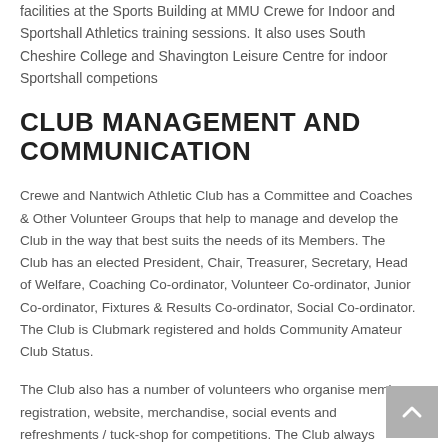facilities at the Sports Building at MMU Crewe for Indoor and Sportshall Athletics training sessions. It also uses South Cheshire College and Shavington Leisure Centre for indoor Sportshall competions
CLUB MANAGEMENT AND COMMUNICATION
Crewe and Nantwich Athletic Club has a Committee and Coaches & Other Volunteer Groups that help to manage and develop the Club in the way that best suits the needs of its Members. The Club has an elected President, Chair, Treasurer, Secretary, Head of Welfare, Coaching Co-ordinator, Volunteer Co-ordinator, Junior Co-ordinator, Fixtures & Results Co-ordinator, Social Co-ordinator. The Club is Clubmark registered and holds Community Amateur Club Status.
The Club also has a number of volunteers who organise member registration, website, merchandise, social events and refreshments / tuck-shop for competitions. The Club always welcomes any new